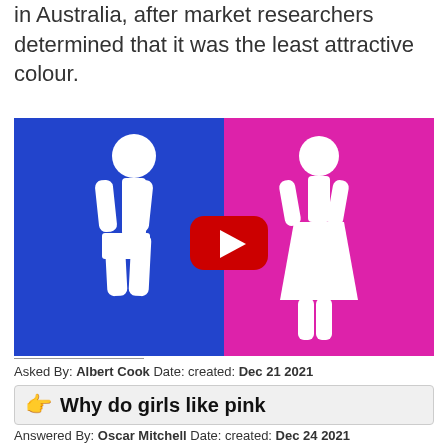in Australia, after market researchers determined that it was the least attractive colour.
[Figure (illustration): A split image showing a white male figure on a blue background (left) and a white female figure on a magenta/pink background (right), with a YouTube play button overlay in the center.]
Asked By: Albert Cook Date: created: Dec 21 2021
Why do girls like pink
Answered By: Oscar Mitchell Date: created: Dec 24 2021